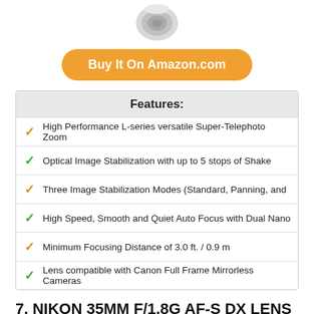[Figure (photo): Partial view of a camera lens (top portion), gray/white, seen from front]
Buy It On Amazon.com
| Features: |
| --- |
| High Performance L-series versatile Super-Telephoto Zoom |
| Optical Image Stabilization with up to 5 stops of Shake |
| Three Image Stabilization Modes (Standard, Panning, and |
| High Speed, Smooth and Quiet Auto Focus with Dual Nano |
| Minimum Focusing Distance of 3.0 ft. / 0.9 m |
| Lens compatible with Canon Full Frame Mirrorless Cameras |
7. NIKON 35MM F/1.8G AF-S DX LENS FOR NIKON DSLR CAMERAS (RENEWED)
[Figure (photo): Black Nikon 35mm f/1.8G AF-S DX lens, front view, partially visible at bottom of page]